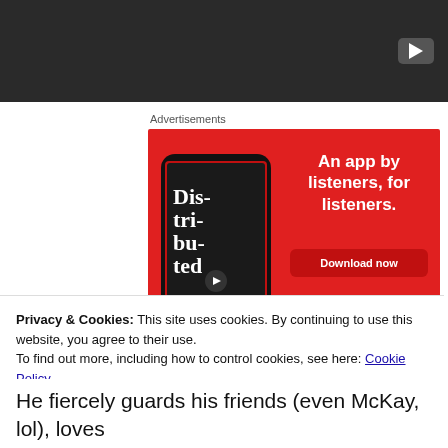[Figure (screenshot): Dark video thumbnail area with a play button in the top right corner]
Advertisements
[Figure (illustration): Red advertisement banner for a podcast app featuring a phone showing 'Dis-tri-bu-ted' podcast and text 'An app by listeners, for listeners.' with a 'Download now' button]
Privacy & Cookies: This site uses cookies. By continuing to use this website, you agree to their use.
To find out more, including how to control cookies, see here: Cookie Policy
Close and accept
He fiercely guards his friends (even McKay, lol), loves